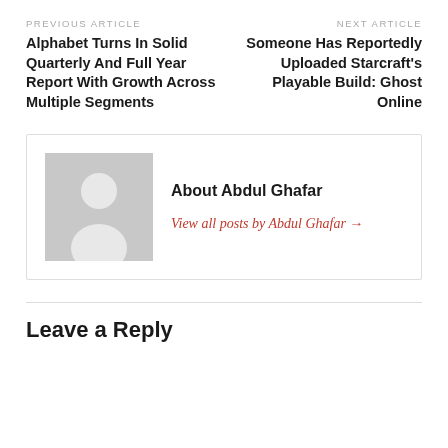PREVIOUS ARTICLE
Alphabet Turns In Solid Quarterly And Full Year Report With Growth Across Multiple Segments
NEXT ARTICLE
Someone Has Reportedly Uploaded Starcraft's Playable Build: Ghost Online
About Abdul Ghafar
View all posts by Abdul Ghafar →
Leave a Reply